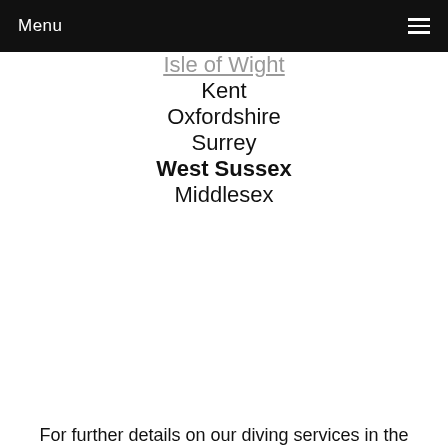Menu
Isle of Wight
Kent
Oxfordshire
Surrey
West Sussex
Middlesex
For further details on our diving services in the